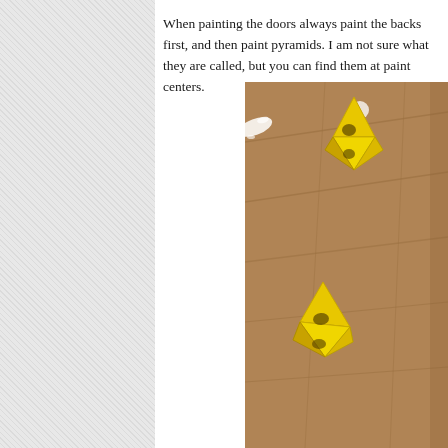When painting the doors always paint the backs first, and then paint pyramids. I am not sure what they are called, but you can find them at paint centers.
[Figure (photo): A photo of two yellow plastic paint pyramids (triangular/octahedral shaped holders) resting on a large brown cardboard surface. One pyramid is upright in the upper-center area, one is tilted in the lower-left area. The cardboard shows some white paint splatters.]